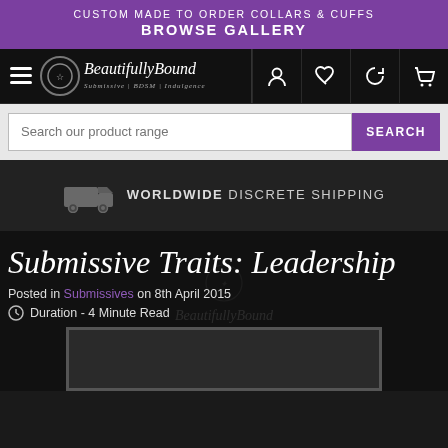CUSTOM MADE TO ORDER COLLARS & CUFFS
BROWSE GALLERY
[Figure (screenshot): Navigation bar with hamburger menu, BeautifullyBound logo, and icons for user, wishlist, rewards, and cart]
[Figure (screenshot): Search bar with placeholder 'Search our product range' and purple SEARCH button]
[Figure (screenshot): Dark shipping bar with truck icon and text WORLDWIDE DISCRETE SHIPPING]
Submissive Traits: Leadership
Posted in Submissives on 8th April 2015
Duration - 4 Minute Read
[Figure (photo): Dark article image with BeautifullyBound watermark logo]